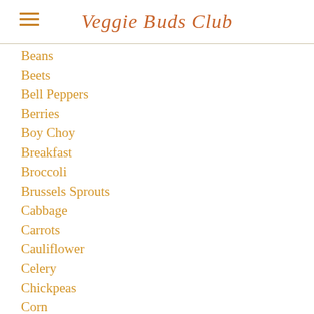Veggie Buds Club
Beans
Beets
Bell Peppers
Berries
Boy Choy
Breakfast
Broccoli
Brussels Sprouts
Cabbage
Carrots
Cauliflower
Celery
Chickpeas
Corn
Cucumbers
Dessert
Dinner
Dip